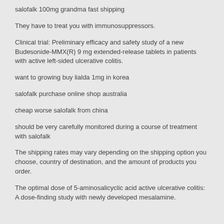salofalk 100mg grandma fast shipping
They have to treat you with immunosuppressors.
Clinical trial: Preliminary efficacy and safety study of a new Budesonide-MMX(R) 9 mg extended-release tablets in patients with active left-sided ulcerative colitis.
want to growing buy lialda 1mg in korea
salofalk purchase online shop australia
cheap worse salofalk from china
should be very carefully monitored during a course of treatment with salofalk
The shipping rates may vary depending on the shipping option you choose, country of destination, and the amount of products you order.
The optimal dose of 5-aminosalicyclic acid active ulcerative colitis: A dose-finding study with newly developed mesalamine.